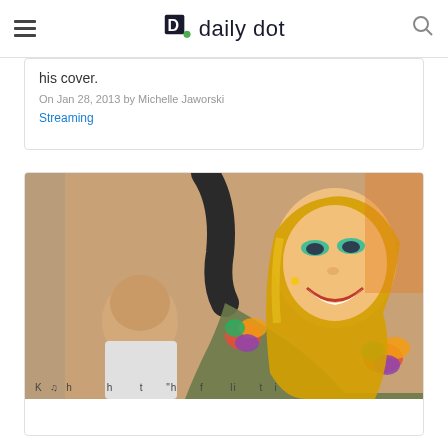daily dot
his cover.
On Jan 28, 2013 by Michelle Jaworski
Streaming
[Figure (photo): Blonde female performer on stage with arm raised, wearing colorful floral-trimmed military jacket, mouth open singing, with another performer behind her]
Kesha releases her "first" ...